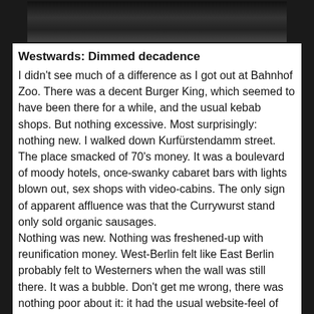[Figure (photo): Black and white photograph strip at the top of the page, showing a dark urban street scene.]
Westwards: Dimmed decadence
I didn't see much of a difference as I got out at Bahnhof Zoo. There was a decent Burger King, which seemed to have been there for a while, and the usual kebab shops. But nothing excessive. Most surprisingly: nothing new. I walked down Kurfürstendamm street. The place smacked of 70's money. It was a boulevard of moody hotels, once-swanky cabaret bars with lights blown out, sex shops with video-cabins. The only sign of apparent affluence was that the Currywurst stand only sold organic sausages.
Nothing was new. Nothing was freshened-up with reunification money. West-Berlin felt like East Berlin probably felt to Westerners when the wall was still there. It was a bubble. Don't get me wrong, there was nothing poor about it: it had the usual website-feel of store names. But the fur and cigar shops, didn't seem to be thriving. And even-though some kebab stores advertised champagne, I doubted they still served it.